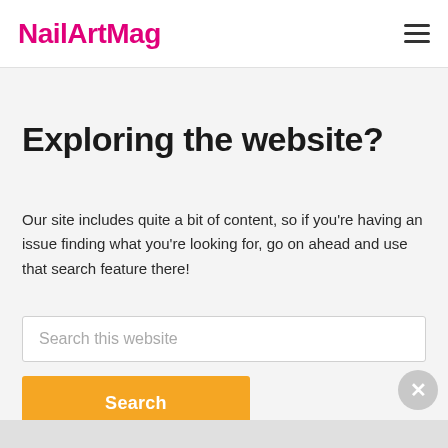NailArtMag
Exploring the website?
Our site includes quite a bit of content, so if you're having an issue finding what you're looking for, go on ahead and use that search feature there!